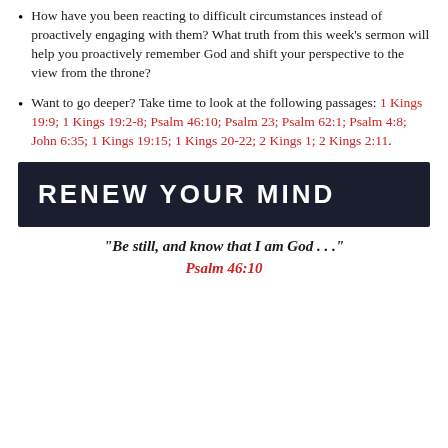How have you been reacting to difficult circumstances instead of proactively engaging with them? What truth from this week's sermon will help you proactively remember God and shift your perspective to the view from the throne?
Want to go deeper? Take time to look at the following passages: 1 Kings 19:9; 1 Kings 19:2-8; Psalm 46:10; Psalm 23; Psalm 62:1; Psalm 4:8; John 6:35; 1 Kings 19:15; 1 Kings 20-22; 2 Kings 1; 2 Kings 2:11.
[Figure (other): Dark navy banner with white bold uppercase text reading RENEW YOUR MIND]
“Be still, and know that I am God . . .”
Psalm 46:10